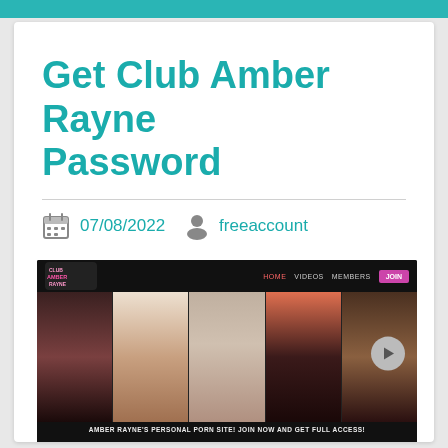Get Club Amber Rayne Password
07/08/2022   freeaccount
[Figure (screenshot): Screenshot of Club Amber Rayne website showing navigation bar with HOME, VIDEOS, MEMBERS, JOIN button, five content image panels, and footer text: AMBER RAYNE'S PERSONAL PORN SITE! JOIN NOW AND GET FULL ACCESS!]
Latest Updates